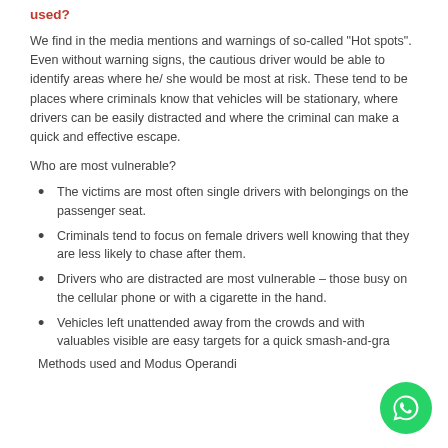used?
We find in the media mentions and warnings of so-called "Hot spots". Even without warning signs, the cautious driver would be able to identify areas where he/ she would be most at risk. These tend to be places where criminals know that vehicles will be stationary, where drivers can be easily distracted and where the criminal can make a quick and effective escape.
Who are most vulnerable?
The victims are most often single drivers with belongings on the passenger seat.
Criminals tend to focus on female drivers well knowing that they are less likely to chase after them.
Drivers who are distracted are most vulnerable – those busy on the cellular phone or with a cigarette in the hand.
Vehicles left unattended away from the crowds and with valuables visible are easy targets for a quick smash-and-gra…
Methods used and Modus Operandi